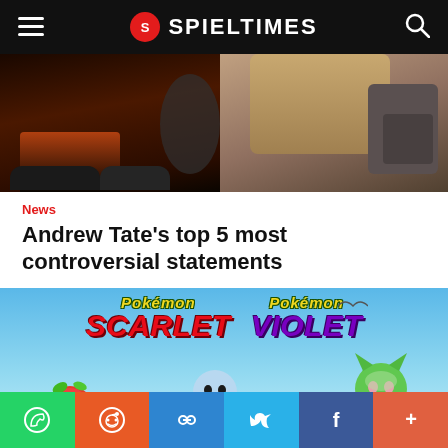SPIELTIMES
[Figure (photo): Hero image showing partial view of a person near a vehicle — legs and sneakers on the left, torso with bag strap on the right]
News
Andrew Tate's top 5 most controversial statements
[Figure (photo): Pokémon Scarlet Violet promotional banner with the starter Pokémon (Sprigatito, Quaxly, Fuecoco) on a blue sky background]
Social share bar: WhatsApp, Reddit, Copy link, Twitter, Facebook, More